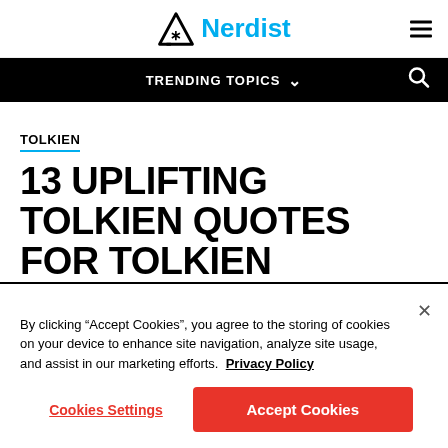Nerdist
TRENDING TOPICS
TOLKIEN
13 UPLIFTING TOLKIEN QUOTES FOR TOLKIEN
By clicking “Accept Cookies”, you agree to the storing of cookies on your device to enhance site navigation, analyze site usage, and assist in our marketing efforts.  Privacy Policy